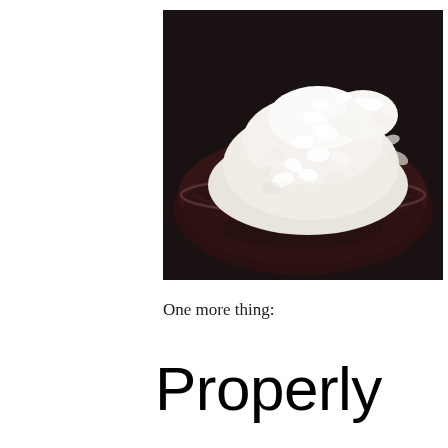[Figure (photo): A close-up photograph of cooked white rice piled in a dark wooden bowl, viewed from above at an angle. The rice grains are white and glossy, heaped in the center of the dark brown/black bowl. The background is dark.]
One more thing:
Properly